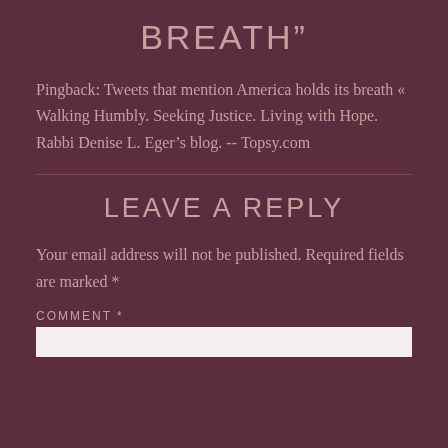BREATH”
Pingback: Tweets that mention America holds its breath « Walking Humbly. Seeking Justice. Living with Hope. Rabbi Denise L. Eger’s blog. -- Topsy.com
LEAVE A REPLY
Your email address will not be published. Required fields are marked *
COMMENT *